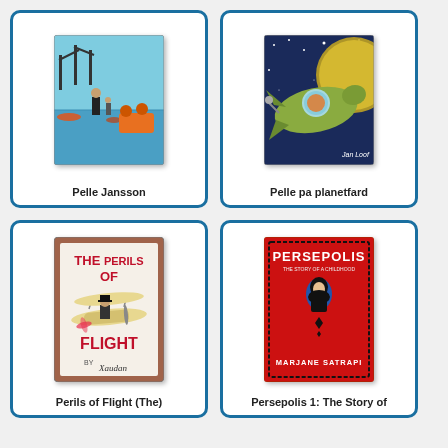[Figure (illustration): Book cover of Pelle Jansson showing a harbor scene with boats and a figure]
Pelle Jansson
[Figure (illustration): Book cover of Pelle pa planetfard showing a spaceship in space near a planet, by Jan Loof]
Pelle pa planetfard
[Figure (illustration): Book cover of The Perils of Flight showing a vintage biplane with a top-hatted figure]
Perils of Flight (The)
[Figure (illustration): Book cover of Persepolis 1: The Story of a Childhood by Marjane Satrapi, red cover with black figure in hijab inside a decorative sun/star shape]
Persepolis 1: The Story of